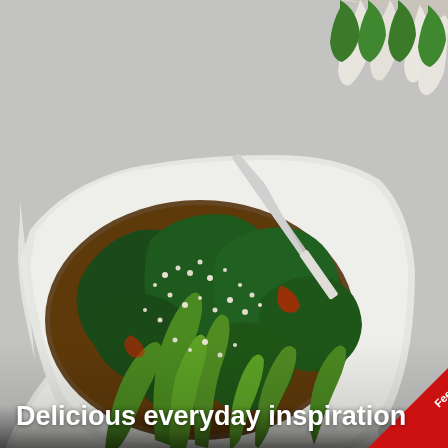[Figure (photo): Overhead food photography showing a white bowl/plate containing cooked bok choy (Chinese cabbage) in a savory soy-based sauce with sesame seeds, alongside a knife and raw bok choy on a light grey surface.]
Delicious everyday inspiration